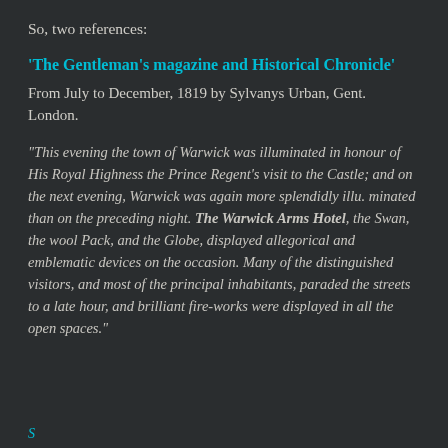So, two references:
'The Gentleman's magazine and Historical Chronicle'
From July to December, 1819 by Sylvanys Urban, Gent. London.
"This evening the town of Warwick was illuminated in honour of His Royal Highness the Prince Regent's visit to the Castle; and on the next evening, Warwick was again more splendidly illu. minated than on the preceding night. The Warwick Arms Hotel, the Swan, the wool Pack, and the Globe, displayed allegorical and emblematic devices on the occasion. Many of the distinguished visitors, and most of the principal inhabitants, paraded the streets to a late hour, and brilliant fire-works were displayed in all the open spaces."
(partial cyan text visible at bottom)